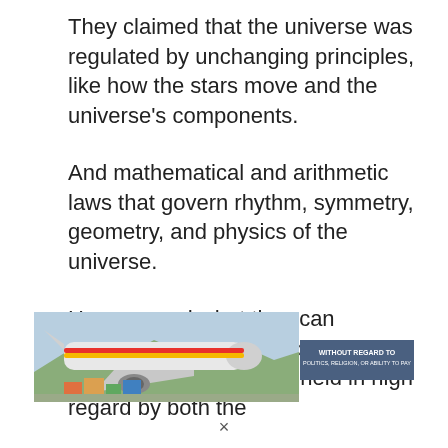They claimed that the universe was regulated by unchanging principles, like how the stars move and the universe’s components.
And mathematical and arithmetic laws that govern rhythm, symmetry, geometry, and physics of the universe.
Humans and what they can accomplish with the help of their bodies and minds were held in high regard by both the
[Figure (photo): Advertisement banner showing a cargo plane being loaded on a tarmac with colorful freight, with a dark overlay text reading WITHOUT REGARD TO POLITICS, RELIGION, OR ABILITY TO PAY]
×